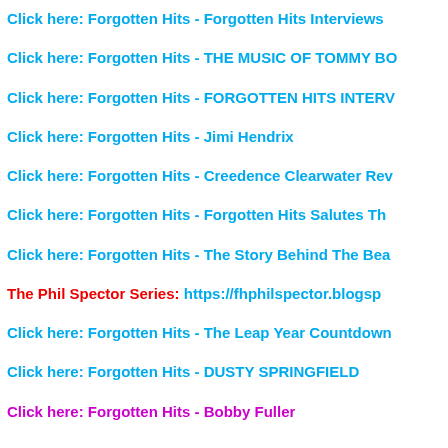Click here: Forgotten Hits - Forgotten Hits Interviews
Click here: Forgotten Hits - THE MUSIC OF TOMMY BO
Click here: Forgotten Hits - FORGOTTEN HITS INTERV
Click here: Forgotten Hits - Jimi Hendrix
Click here: Forgotten Hits - Creedence Clearwater Rev
Click here: Forgotten Hits - Forgotten Hits Salutes Th
Click here: Forgotten Hits - The Story Behind The Bea
The Phil Spector Series: https://fhphilspector.blogsp
Click here: Forgotten Hits - The Leap Year Countdown
Click here: Forgotten Hits - DUSTY SPRINGFIELD
Click here: Forgotten Hits - Bobby Fuller